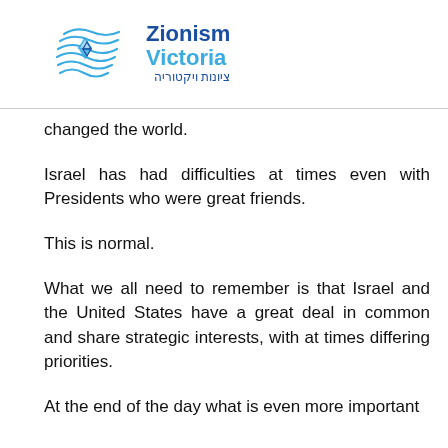[Figure (logo): Zionism Victoria logo with wave/star graphic and Hebrew text]
changed the world.
Israel has had difficulties at times even with Presidents who were great friends.
This is normal.
What we all need to remember is that Israel and the United States have a great deal in common and share strategic interests, with at times differing priorities.
At the end of the day what is even more important